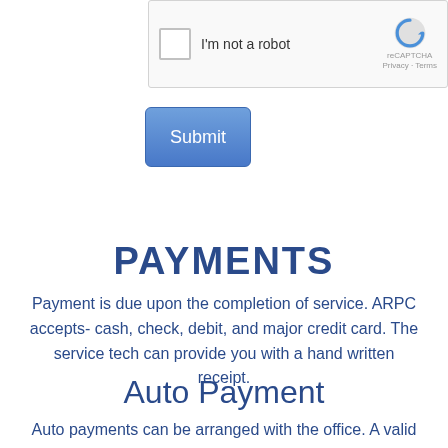[Figure (screenshot): reCAPTCHA widget with checkbox labeled 'I'm not a robot' and reCAPTCHA logo with Privacy and Terms links]
[Figure (screenshot): Blue Submit button]
PAYMENTS
Payment is due upon the completion of service. ARPC accepts- cash, check, debit, and major credit card. The service tech can provide you with a hand written receipt.
Auto Payment
Auto payments can be arranged with the office. A valid Credit or Debit card is required. ARPC will e-mail you a receipt after payment has been made